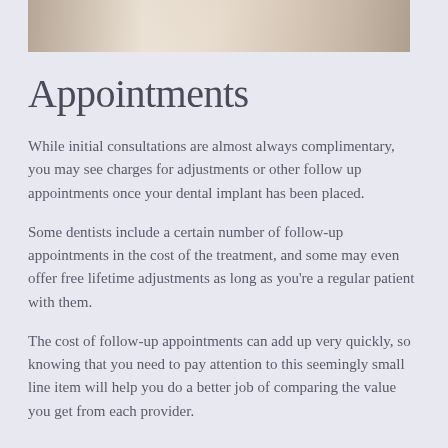[Figure (photo): Partial photo strip at top of page showing a dental or medical scene with a patient and provider, cropped to show only the upper portion]
Appointments
While initial consultations are almost always complimentary, you may see charges for adjustments or other follow up appointments once your dental implant has been placed.
Some dentists include a certain number of follow-up appointments in the cost of the treatment, and some may even offer free lifetime adjustments as long as you're a regular patient with them.
The cost of follow-up appointments can add up very quickly, so knowing that you need to pay attention to this seemingly small line item will help you do a better job of comparing the value you get from each provider.